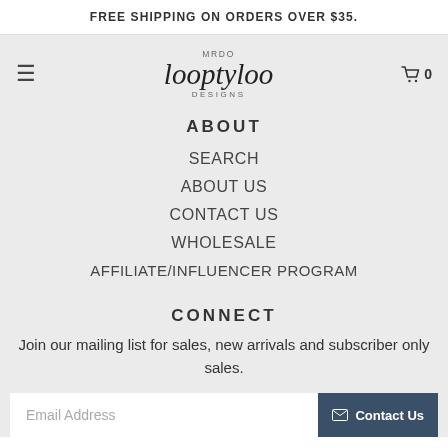FREE SHIPPING ON ORDERS OVER $35.
[Figure (logo): MRDO Looptyloo Designs logo in script font]
ABOUT
SEARCH
ABOUT US
CONTACT US
WHOLESALE
AFFILIATE/INFLUENCER PROGRAM
CONNECT
Join our mailing list for sales, new arrivals and subscriber only sales.
Email Address